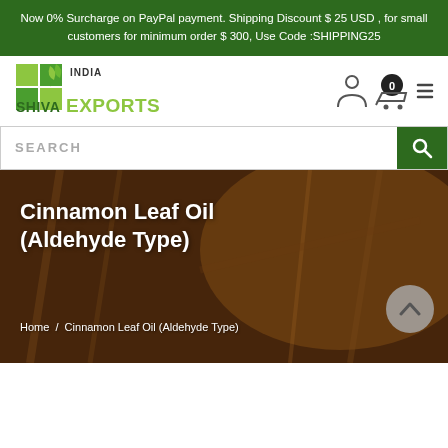Now 0% Surcharge on PayPal payment. Shipping Discount $ 25 USD , for small customers for minimum order $ 300, Use Code :SHIPPING25
[Figure (logo): Shiva Exports India logo with green leaves and grid icon]
[Figure (screenshot): Navigation icons: user account, shopping cart with 0 badge, hamburger menu]
[Figure (screenshot): Search bar with text SEARCH and green search button]
Cinnamon Leaf Oil (Aldehyde Type)
Home / Cinnamon Leaf Oil (Aldehyde Type)